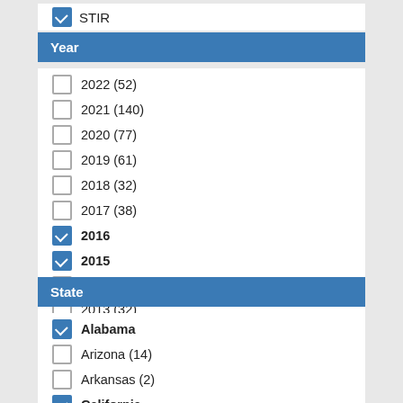✓ STIR
Year
☐ 2022 (52)
☐ 2021 (140)
☐ 2020 (77)
☐ 2019 (61)
☐ 2018 (32)
☐ 2017 (38)
✓ 2016
✓ 2015
☐ 2014 (32)
☐ 2013 (32)
State
✓ Alabama
☐ Arizona (14)
☐ Arkansas (2)
✓ California
☐ Colorado (8)